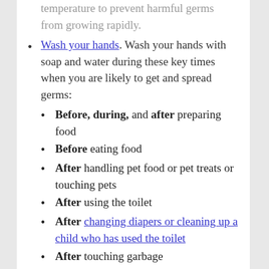temperature to prevent harmful germs from growing rapidly.
Wash your hands. Wash your hands with soap and water during these key times when you are likely to get and spread germs:
Before, during, and after preparing food
Before eating food
After handling pet food or pet treats or touching pets
After using the toilet
After changing diapers or cleaning up a child who has used the toilet
After touching garbage
Before and after caring for someone who is sick
Before and after treating a cut or